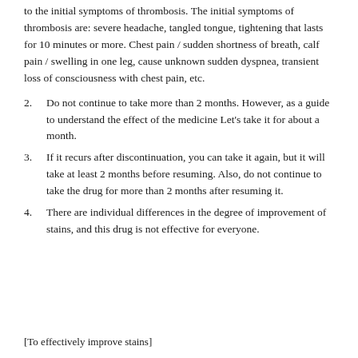to the initial symptoms of thrombosis. The initial symptoms of thrombosis are: severe headache, tangled tongue, tightening that lasts for 10 minutes or more. Chest pain / sudden shortness of breath, calf pain / swelling in one leg, cause unknown sudden dyspnea, transient loss of consciousness with chest pain, etc.
2. Do not continue to take more than 2 months. However, as a guide to understand the effect of the medicine Let's take it for about a month.
3. If it recurs after discontinuation, you can take it again, but it will take at least 2 months before resuming. Also, do not continue to take the drug for more than 2 months after resuming it.
4. There are individual differences in the degree of improvement of stains, and this drug is not effective for everyone.
[To effectively improve stains]